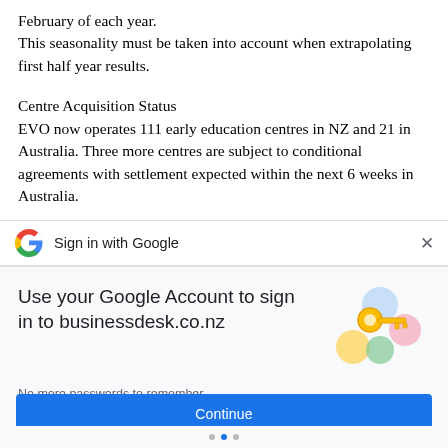February of each year.
This seasonality must be taken into account when extrapolating first half year results.
Centre Acquisition Status
EVO now operates 111 early education centres in NZ and 21 in Australia. Three more centres are subject to conditional agreements with settlement expected within the next 6 weeks in Australia.
Further acquisitions are being pursued in Australia in
[Figure (screenshot): Google Sign in with Google dialog bar with Google logo and X close button]
[Figure (screenshot): Google sign-in panel: Use your Google Account to sign in to businessdesk.co.nz. No more passwords to remember. Signing in is fast, simple and secure. Continue button. Key and circles illustration.]